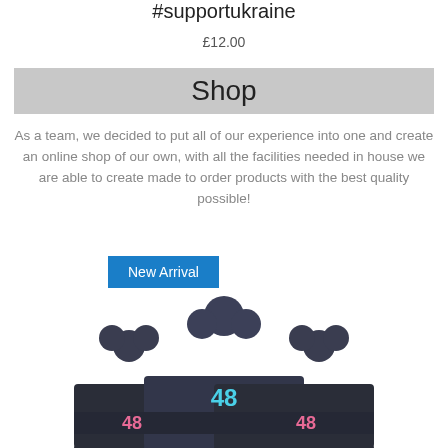#supportukraine
£12.00
Shop
As a team, we decided to put all of our experience into one and create an online shop of our own, with all the facilities needed in house we are able to create made to order products with the best quality possible!
New Arrival
[Figure (photo): Three dark navy bobble hats with '48' embroidered in pink and blue lettering, stacked/overlapping, showing the brim with number embroidery.]